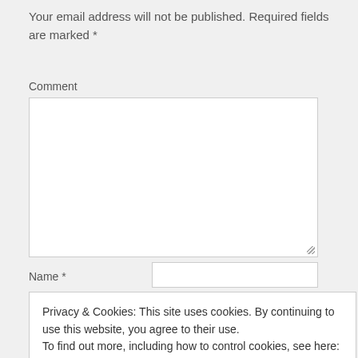Your email address will not be published. Required fields are marked *
Comment
[Figure (screenshot): Empty comment text area input box with resize handle]
Name *
[Figure (screenshot): Name text input field (empty)]
Privacy & Cookies: This site uses cookies. By continuing to use this website, you agree to their use.
To find out more, including how to control cookies, see here: Cookie Policy
Close and accept
Notify me of follow-up comments by email.